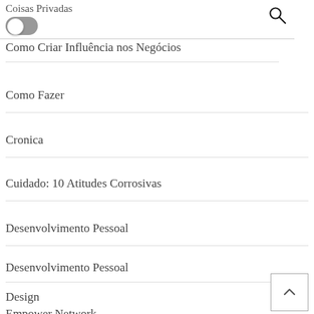Coisas Privadas
Como Criar Influência nos Negócios
Como Fazer
Cronica
Cuidado: 10 Atitudes Corrosivas
Desenvolvimento Pessoal
Desenvolvimento Pessoal
Design
Empower Network